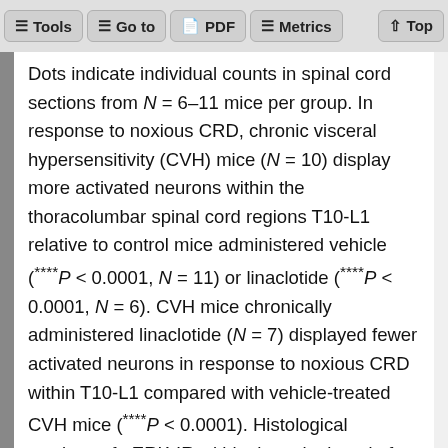Tools | Go to | PDF | Metrics | Top
Dots indicate individual counts in spinal cord sections from N = 6–11 mice per group. In response to noxious CRD, chronic visceral hypersensitivity (CVH) mice (N = 10) display more activated neurons within the thoracolumbar spinal cord regions T10-L1 relative to control mice administered vehicle (****P < 0.0001, N = 11) or linaclotide (****P < 0.0001, N = 6). CVH mice chronically administered linaclotide (N = 7) displayed fewer activated neurons in response to noxious CRD within T10-L1 compared with vehicle-treated CVH mice (****P < 0.0001). Histological sections of pERK-IR within the spinal cord of (B) control and (C) CVH mice chronically administered vehicle or linaclotide.